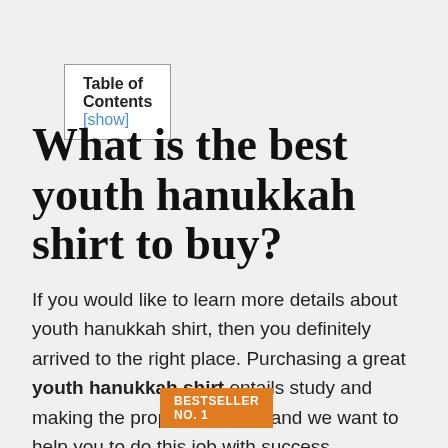| Table of Contents [show] |
What is the best youth hanukkah shirt to buy?
If you would like to learn more details about youth hanukkah shirt, then you definitely arrived to the right place. Purchasing a great youth hanukkah shirt entails study and making the proper decision, and we want to help you to do this job with success.
BESTSELLER NO. 1